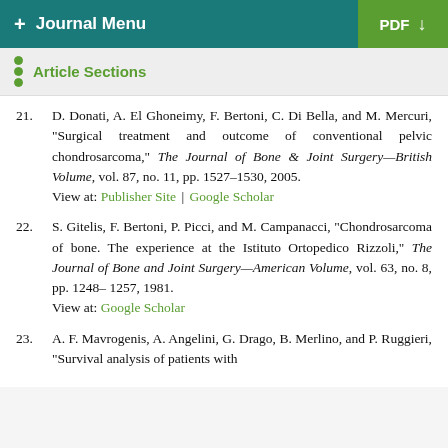+ Journal Menu | PDF
Article Sections
21. D. Donati, A. El Ghoneimy, F. Bertoni, C. Di Bella, and M. Mercuri, "Surgical treatment and outcome of conventional pelvic chondrosarcoma," The Journal of Bone & Joint Surgery—British Volume, vol. 87, no. 11, pp. 1527–1530, 2005. View at: Publisher Site | Google Scholar
22. S. Gitelis, F. Bertoni, P. Picci, and M. Campanacci, "Chondrosarcoma of bone. The experience at the Istituto Ortopedico Rizzoli," The Journal of Bone and Joint Surgery—American Volume, vol. 63, no. 8, pp. 1248–1257, 1981. View at: Google Scholar
23. A. F. Mavrogenis, A. Angelini, G. Drago, B. Merlino, and P. Ruggieri, "Survival analysis of patients with